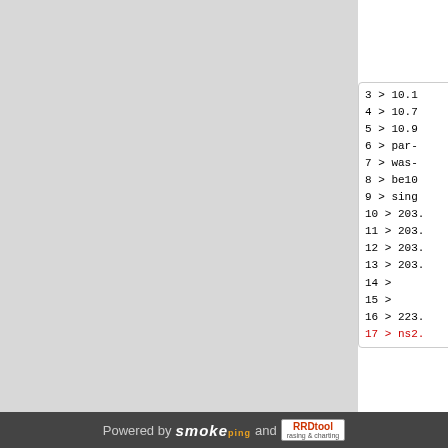[Figure (screenshot): Gray left panel area representing a chart or image region]
3 > 10.1
4 > 10.7
5 > 10.9
6 > par-
7 > was-
8 > be10
9 > sing
10 > 203.
11 > 203.
12 > 203.
13 > 203.
14 >
15 >
16 > 223.
17 > ns2.
3 > 10.1
4 > 10.7
5 > 10.9
6 > par-
7 > was-
Powered by smoke ping and RRDtool